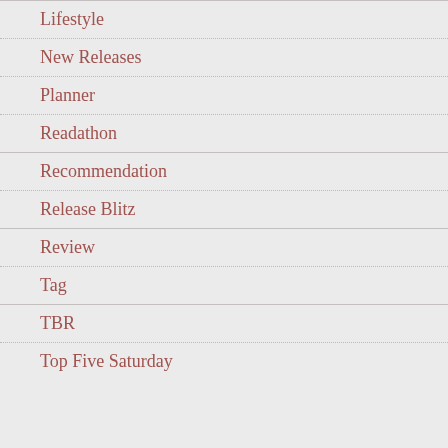Lifestyle
New Releases
Planner
Readathon
Recommendation
Release Blitz
Review
Tag
TBR
Top Five Saturday